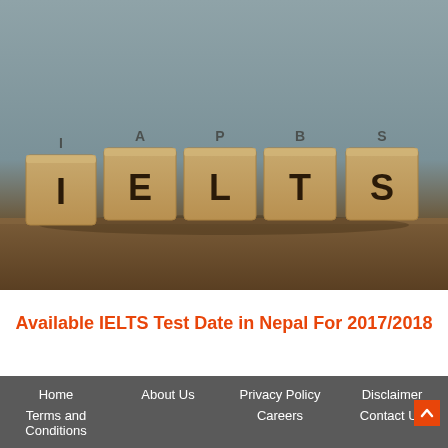[Figure (photo): Wooden letter blocks spelling IELTS on a wooden surface against a gray background. The letters I, E, L, T, S are on individual wooden cubes.]
Available IELTS Test Date in Nepal For 2017/2018
Home    About Us    Privacy Policy    Disclaimer    Terms and Conditions    Careers    Contact Us